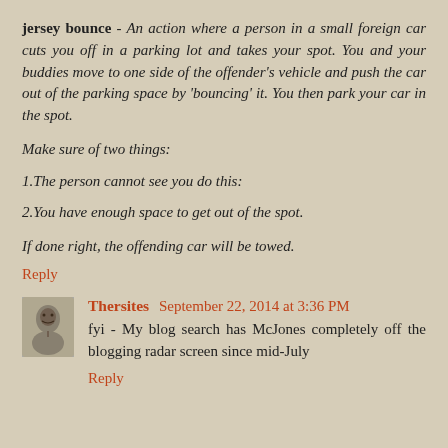jersey bounce - An action where a person in a small foreign car cuts you off in a parking lot and takes your spot. You and your buddies move to one side of the offender's vehicle and push the car out of the parking space by 'bouncing' it. You then park your car in the spot.
Make sure of two things:
1.The person cannot see you do this:
2.You have enough space to get out of the spot.
If done right, the offending car will be towed.
Reply
Thersites  September 22, 2014 at 3:36 PM
fyi - My blog search has McJones completely off the blogging radar screen since mid-July
Reply